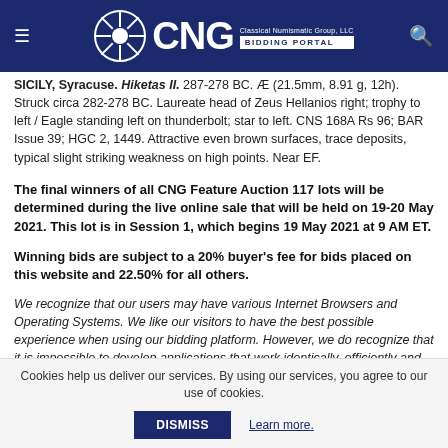CNG Classical Numismatic Group, LLC — BIDDING PORTAL
SICILY, Syracuse. Hiketas II. 287-278 BC. Æ (21.5mm, 8.91 g, 12h). Struck circa 282-278 BC. Laureate head of Zeus Hellanios right; trophy to left / Eagle standing left on thunderbolt; star to left. CNS 168A Rs 96; BAR Issue 39; HGC 2, 1449. Attractive even brown surfaces, trace deposits, typical slight striking weakness on high points. Near EF.
The final winners of all CNG Feature Auction 117 lots will be determined during the live online sale that will be held on 19-20 May 2021. This lot is in Session 1, which begins 19 May 2021 at 9 AM ET.
Winning bids are subject to a 20% buyer's fee for bids placed on this website and 22.50% for all others.
We recognize that our users may have various Internet Browsers and Operating Systems. We like our visitors to have the best possible experience when using our bidding platform. However, we do recognize that it is impossible to develop applications that work identically, efficiently and effectively on all web browsers. The CNG bidding platform supports Mozilla
Cookies help us deliver our services. By using our services, you agree to our use of cookies. DISMISS Learn more.